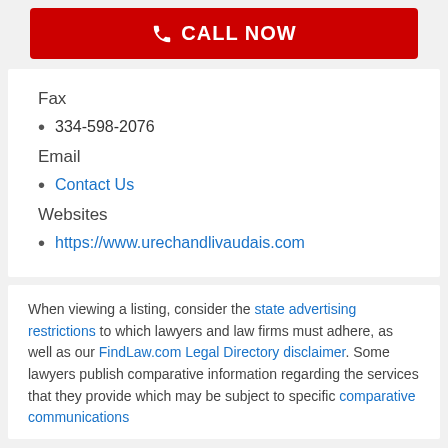[Figure (other): Red CALL NOW button with phone icon]
Fax
334-598-2076
Email
Contact Us
Websites
https://www.urechandlivaudais.com
When viewing a listing, consider the state advertising restrictions to which lawyers and law firms must adhere, as well as our FindLaw.com Legal Directory disclaimer. Some lawyers publish comparative information regarding the services that they provide which may be subject to specific comparative communications